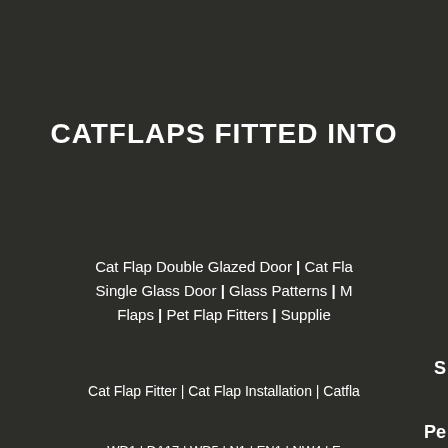CATFLAPS FITTED INTO
Cat Flap Double Glazed Door | Cat Fla Single Glass Door | Glass Patterns | M Flaps | Pet Flap Fitters | Supplie
S
Cat Flap Fitter | Cat Flap Installation | Catfla
Pe
WD1 | DA17 | WD5 | N1 | EN1 | NW4 | E E17 | EN11 | DA4 | WD6 | W2 | W11 | W1